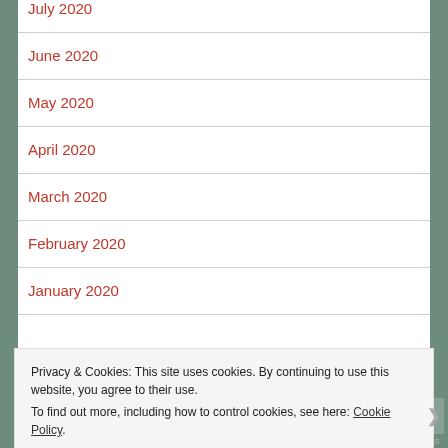July 2020
June 2020
May 2020
April 2020
March 2020
February 2020
January 2020
Privacy & Cookies: This site uses cookies. By continuing to use this website, you agree to their use. To find out more, including how to control cookies, see here: Cookie Policy
AIRPORT-TIME.AS